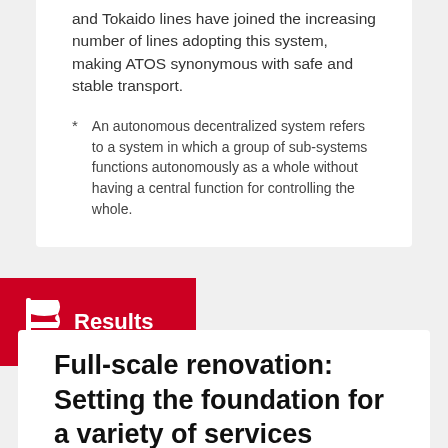and Tokaido lines have joined the increasing number of lines adopting this system, making ATOS synonymous with safe and stable transport.
* An autonomous decentralized system refers to a system in which a group of sub-systems functions autonomously as a whole without having a central function for controlling the whole.
Results
Full-scale renovation: Setting the foundation for a variety of services